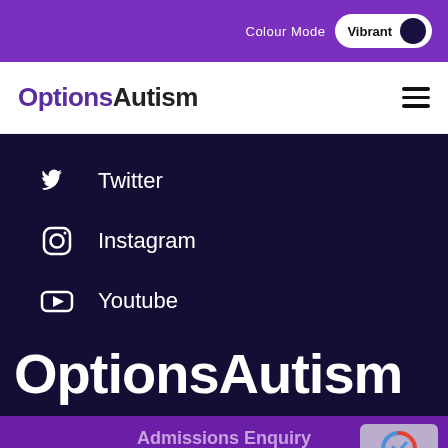Colour Mode  Vibrant
OptionsAutism
Twitter
Instagram
Youtube
OptionsAutism
Admissions Enquiry
Options Autism
Enquire Now
T: 01204 500 227